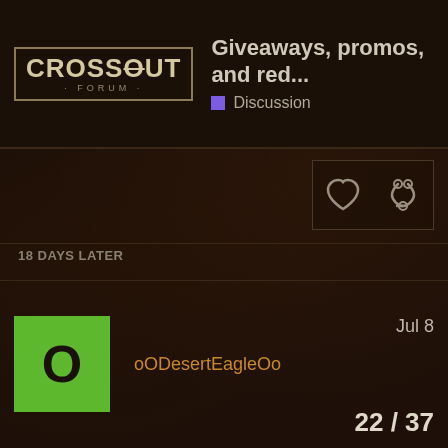Giveaways, promos, and red... — Discussion — CROSSOUT FORUM
18 DAYS LATER
oODesertEagleOo — Jul 8
22 / 37